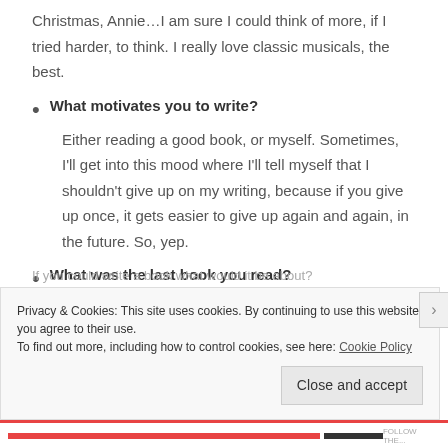Christmas, Annie…I am sure I could think of more, if I tried harder, to think. I really love classic musicals, the best.
What motivates you to write?
Either reading a good book, or myself. Sometimes, I'll get into this mood where I'll tell myself that I shouldn't give up on my writing, because if you give up once, it gets easier to give up again and again, in the future. So, yep.
What was the last book you read?
Anne of Avonlea, by L.M. Montgomery.
If you could write a book what would it be about?
Privacy & Cookies: This site uses cookies. By continuing to use this website, you agree to their use.
To find out more, including how to control cookies, see here: Cookie Policy
Close and accept